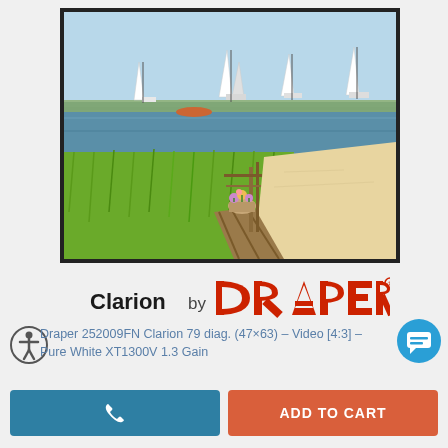[Figure (photo): Projection screen displaying a coastal sailing scene — sailboats on water with marsh grass, sandy beach, and blue sky. Screen shown with black frame border.]
[Figure (logo): Clarion by DRAPER brand logo — text reads 'Clarion by' in bold black followed by DRAPER in red stylized block letters with registered trademark symbol.]
Draper 252009FN Clarion 79 diag. (47×63) – Video [4:3] – Pure White XT1300V 1.3 Gain